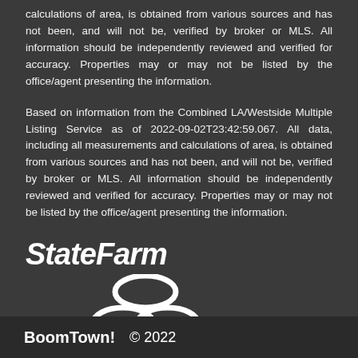calculations of area, is obtained from various sources and has not been, and will not be, verified by broker or MLS. All information should be independently reviewed and verified for accuracy. Properties may or may not be listed by the office/agent presenting the information.
Based on information from the Combined LA/Westside Multiple Listing Service as of 2022-09-02T23:42:59.067. All data, including all measurements and calculations of area, is obtained from various sources and has not been, and will not be, verified by broker or MLS. All information should be independently reviewed and verified for accuracy. Properties may or may not be listed by the office/agent presenting the information.
[Figure (logo): State Farm logo with italic bold text reading 'StateFarm' and the three oval trademark symbol below]
BoomTown! © 2022